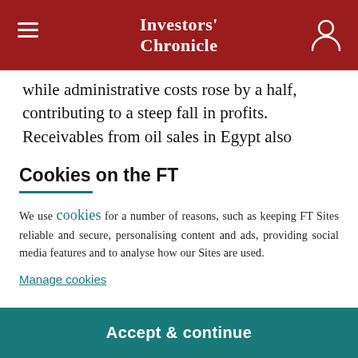Investors' Chronicle
while administrative costs rose by a half, contributing to a steep fall in profits. Receivables from oil sales in Egypt also increased to $48m, from $42m at the year-
Cookies on the FT
We use cookies for a number of reasons, such as keeping FT Sites reliable and secure, personalising content and ads, providing social media features and to analyse how our Sites are used.
Manage cookies
Accept & continue